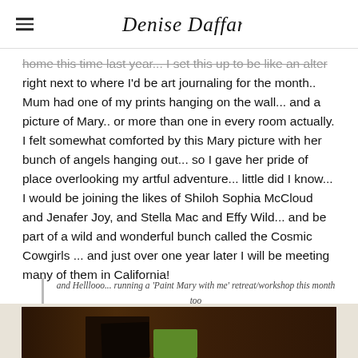Denise Daffarn
home this time last year... I set this up to be like an alter right next to where I'd be art journaling for the month.. Mum had one of my prints hanging on the wall... and a picture of Mary.. or more than one in every room actually. I felt somewhat comforted by this Mary picture with her bunch of angels hanging out... so I gave her pride of place overlooking my artful adventure... little did I know... I would be joining the likes of Shiloh Sophia McCloud and Jenafer Joy, and Stella Mac and Effy Wild... and be part of a wild and wonderful bunch called the Cosmic Cowgirls ... and just over one year later I will be meeting many of them in California!
and Helllooo... running a 'Paint Mary with me' retreat/workshop this month too ... a few days before I leave!!
[Figure (photo): Photo strip showing art journaling materials on a dark wooden surface, with a green object visible]